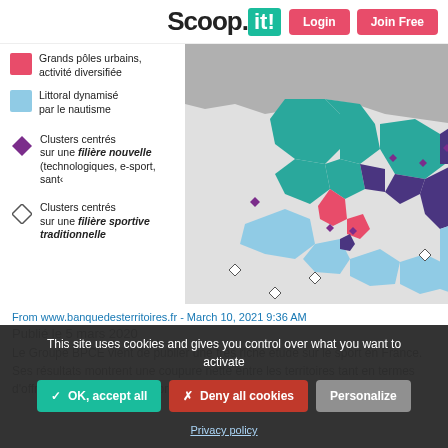Scoop.it! Login Join Free
[Figure (map): Map of France with legend showing territory types: Grands pôles urbains activité diversifiée (red), Littoral dynamisé par le nautisme (light blue), Clusters centrés sur une filière nouvelle (purple diamond), Clusters centrés sur une filière sportive traditionnelle (white diamond). The map shows French southern regions color-coded in teal, purple, light blue, red, and grey.]
From www.banquedesterritoires.fr - March 10, 2021 9:36 AM
Publié le 5 mars 2020
Le Groupe BPCE vient de publier une très riche étude sur le sport en France. Ses résultats montrent une coupure nette entre les territoires tant en termes d'offres de pratique que de présence de professionnels
This site uses cookies and gives you control over what you want to activate
✓ OK, accept all
✗ Deny all cookies
Personalize
Privacy policy